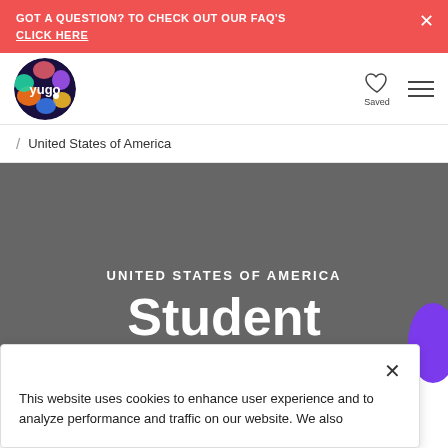GOT A QUESTION? TO CHECK OUT OUR FAQ'S CLICK HERE
[Figure (logo): Yugo student accommodation logo - circular logo with colorful abstract shapes on dark navy background]
/ United States of America
UNITED STATES OF AMERICA Student
This website uses cookies to enhance user experience and to analyze performance and traffic on our website. We also